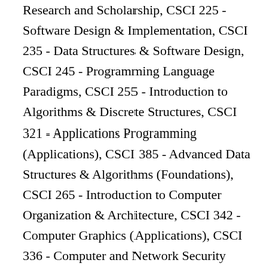Research and Scholarship, CSCI 225 - Software Design & Implementation, CSCI 235 - Data Structures & Software Design, CSCI 245 - Programming Language Paradigms, CSCI 255 - Introduction to Algorithms & Discrete Structures, CSCI 321 - Applications Programming (Applications), CSCI 385 - Advanced Data Structures & Algorithms (Foundations), CSCI 265 - Introduction to Computer Organization & Architecture, CSCI 342 - Computer Graphics (Applications), CSCI 336 - Computer and Network Security (Systems), CSCI 392 - Database Systems (Applications), CSCI 361 - Programming Language Design & Implementation (Foundations), CSCI 195 - Introduction to